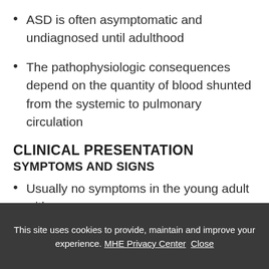ASD is often asymptomatic and undiagnosed until adulthood
The pathophysiologic consequences depend on the quantity of blood shunted from the systemic to pulmonary circulation
CLINICAL PRESENTATION
SYMPTOMS AND SIGNS
Usually no symptoms in the young adult with an
This site uses cookies to provide, maintain and improve your experience. MHE Privacy Center Close